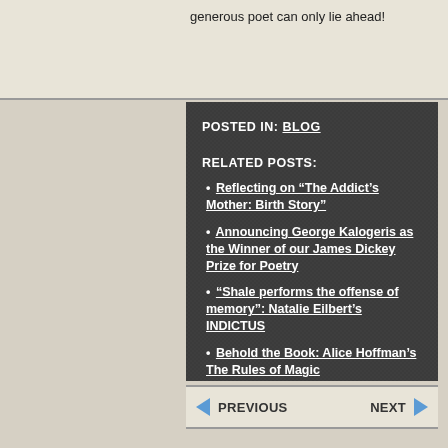generous poet can only lie ahead!
POSTED IN: BLOG
RELATED POSTS:
Reflecting on “The Addict’s Mother: Birth Story”
Announcing George Kalogeris as the Winner of our James Dickey Prize for Poetry
“Shale performs the offense of memory”: Natalie Eilbert’s INDICTUS
Behold the Book: Alice Hoffman’s The Rules of Magic
PREVIOUS    NEXT